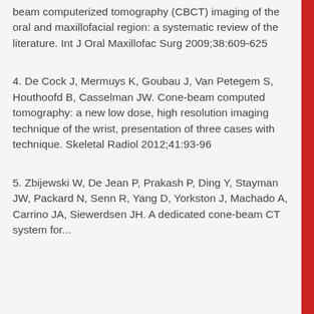beam computerized tomography (CBCT) imaging of the oral and maxillofacial region: a systematic review of the literature. Int J Oral Maxillofac Surg 2009;38:609-625
4. De Cock J, Mermuys K, Goubau J, Van Petegem S, Houthoofd B, Casselman JW. Cone-beam computed tomography: a new low dose, high resolution imaging technique of the wrist, presentation of three cases with technique. Skeletal Radiol 2012;41:93-96
5. Zbijewski W, De Jean P, Prakash P, Ding Y, Stayman JW, Packard N, Senn R, Yang D, Yorkston J, Machado A, Carrino JA, Siewerdsen JH. A dedicated cone-beam CT system for...